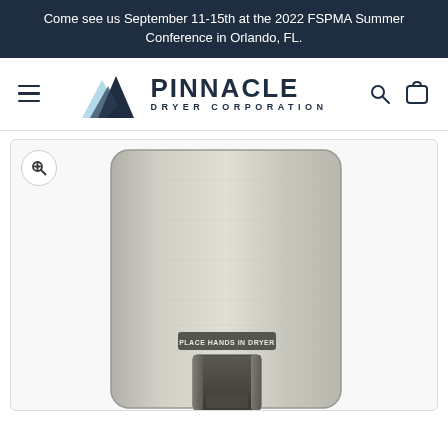Come see us September 11-15th at the 2022 FSPMA Summer Conference in Orlando, FL.
[Figure (logo): Pinnacle Dryer Corporation logo with mountain graphic and navigation icons]
[Figure (photo): Stainless steel hand dryer unit (wall-mounted, recessed blade style) with 'PLACE HANDS IN DRYER' label, photographed from front]